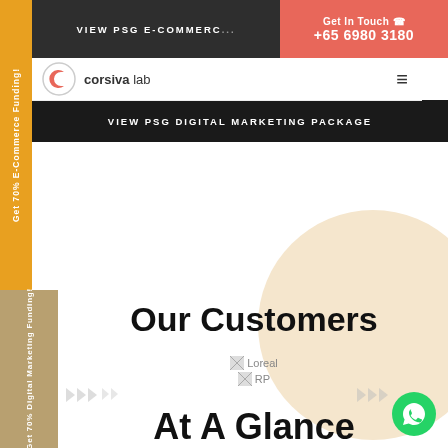VIEW PSG E-COMMERCE
Get In Touch +65 6980 3180
[Figure (logo): Corsiva Lab logo with circular C icon]
VIEW PSG DIGITAL MARKETING PACKAGE
Get 70% E-Commerce Funding!
Get 70% Digital Marketing Funding!
Our Customers
[Figure (logo): Loreal logo placeholder]
[Figure (logo): RP logo placeholder]
At A Glance
[Figure (illustration): WhatsApp contact button (green circle with chat icon)]